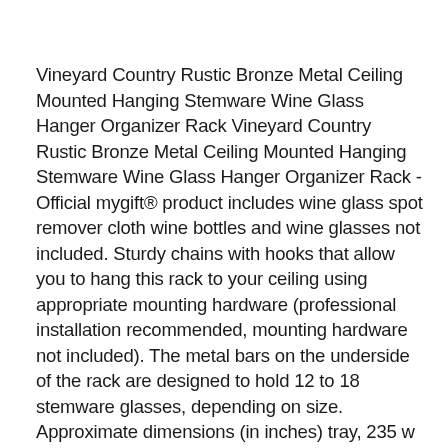Vineyard Country Rustic Bronze Metal Ceiling Mounted Hanging Stemware Wine Glass Hanger Organizer Rack Vineyard Country Rustic Bronze Metal Ceiling Mounted Hanging Stemware Wine Glass Hanger Organizer Rack - Official mygift® product includes wine glass spot remover cloth wine bottles and wine glasses not included. Sturdy chains with hooks that allow you to hang this rack to your ceiling using appropriate mounting hardware (professional installation recommended, mounting hardware not included). The metal bars on the underside of the rack are designed to hold 12 to 18 stemware glasses, depending on size. Approximate dimensions (in inches) tray, 235 w x 1 h x 12 d hanging chain drop, 32 inches. Decorative and useful ceiling-hanging stemware rack made of metal and a vineyard style patterned design that acts as an extra shelf...